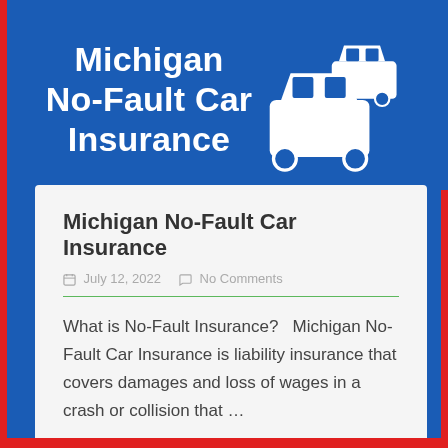[Figure (illustration): Blue banner header with white bold text 'Michigan No-Fault Car Insurance' on the left and two white car icons on the right]
Michigan No-Fault Car Insurance
July 12, 2022   No Comments
What is No-Fault Insurance?   Michigan No-Fault Car Insurance is liability insurance that covers damages and loss of wages in a crash or collision that …